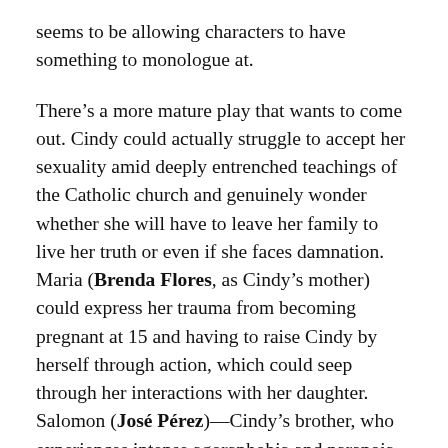seems to be allowing characters to have something to monologue at.

There’s a more mature play that wants to come out. Cindy could actually struggle to accept her sexuality amid deeply entrenched teachings of the Catholic church and genuinely wonder whether she will have to leave her family to live her truth or even if she faces damnation. Maria (Brenda Flores, as Cindy’s mother) could express her trauma from becoming pregnant at 15 and having to raise Cindy by herself through action, which could seep through her interactions with her daughter. Salomon (José Pérez)—Cindy’s brother, who experiences intense agoraphobia and paranoia that’s impacted by machismo culture and inherited trauma—could be taken seriously and his problems recognized as the potentially fatal mental illnesses they are. (In the end, Salomon turns into a bird, and what the